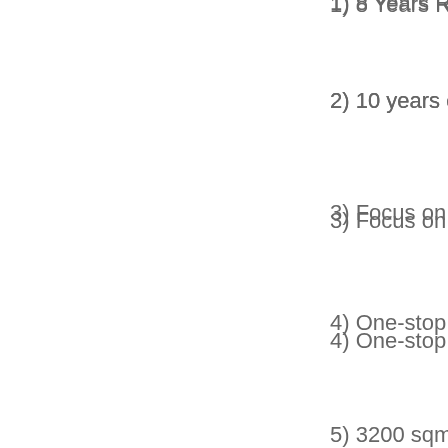1) 8 Years Retail shop o
2) 10 years exporting ex
3) Focus on oversea orc
4) One-stop business se
5) 3200 sqm Workshop
6) 48 workers +  2 QC s
7) Oversea office : Austr
8)  Main market : USA ,
9) Main product : Food k
Jewelr